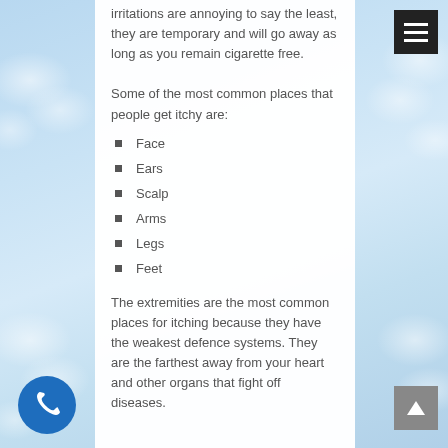irritations are annoying to say the least, they are temporary and will go away as long as you remain cigarette free.
Some of the most common places that people get itchy are:
Face
Ears
Scalp
Arms
Legs
Feet
The extremities are the most common places for itching because they have the weakest defence systems. They are the farthest away from your heart and other organs that fight off diseases.